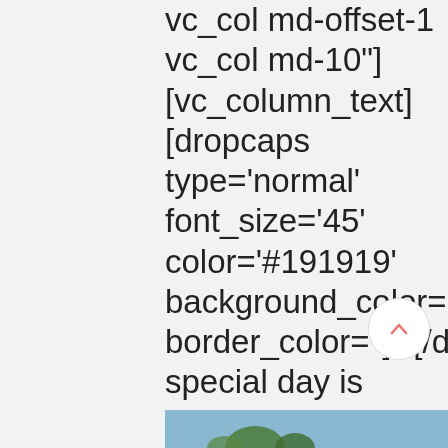vc_col md-offset-1 vc_col md-10"][vc_column_text][dropcaps type='normal' font_size='45' color='#191919' background_color='' border_color='']Y[/dropcaps]our special day is tomorrow. It's now time for lots of self-care. Tomorrow, you marry the person you are going to spend the rest of your...
Read More
[Figure (photo): Partial view of an outdoor photo with blue sky and tree tops visible at the bottom of the page]